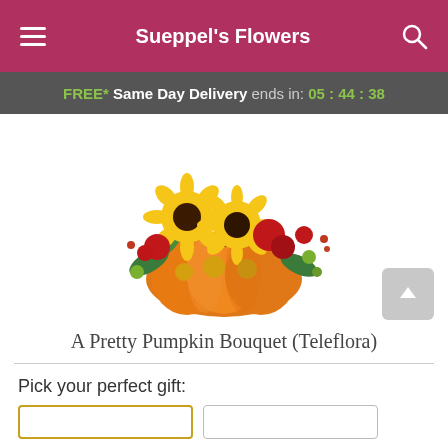Sueppel's Flowers
FREE* Same Day Delivery ends in: 05:44:38
[Figure (photo): A floral arrangement called 'A Pretty Pumpkin Bouquet' featuring sunflowers, red carnations, red daisies, and yellow mums arranged in an orange pumpkin-shaped ceramic vase with green foliage.]
A Pretty Pumpkin Bouquet (Teleflora)
Pick your perfect gift: